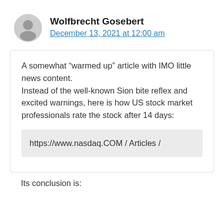Wolfbrecht Gosebert
December 13, 2021 at 12:00 am
A somewhat “warmed up” article with IMO little news content.
Instead of the well-known Sion bite reflex and excited warnings, here is how US stock market professionals rate the stock after 14 days:
https://www.nasdaq.COM / Articles /
Its conclusion is: